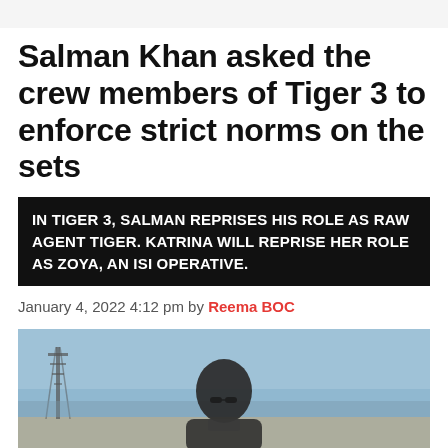Salman Khan asked the crew members of Tiger 3 to enforce strict norms on the sets
IN TIGER 3, SALMAN REPRISES HIS ROLE AS RAW AGENT TIGER. KATRINA WILL REPRISE HER ROLE AS ZOYA, AN ISI OPERATIVE.
January 4, 2022 4:12 pm by Reema BOC
[Figure (photo): Photo of a man wearing sunglasses, partially visible, outdoors with a tower structure in the background and a blue sky.]